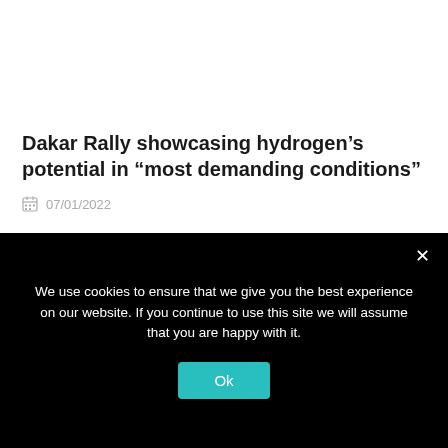Dakar Rally showcasing hydrogen's potential in “most demanding conditions”
07/01/2022
Leave a Reply
Your email address will not be published. Required fields are
We use cookies to ensure that we give you the best experience on our website. If you continue to use this site we will assume that you are happy with it.